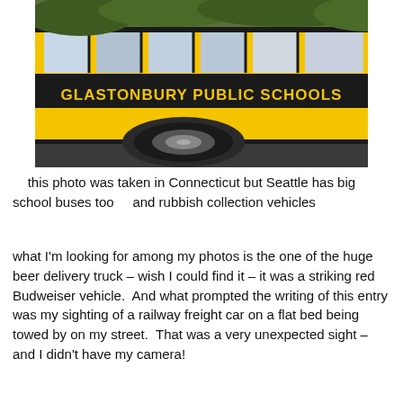[Figure (photo): A yellow school bus with 'GLASTONBURY PUBLIC SCHOOLS' written on its side, photographed from an angle showing the side windows and front wheel. Trees are visible in the background.]
this photo was taken in Connecticut but Seattle has big school buses too    and rubbish collection vehicles
what I'm looking for among my photos is the one of the huge beer delivery truck – wish I could find it – it was a striking red Budweiser vehicle.  And what prompted the writing of this entry was my sighting of a railway freight car on a flat bed being towed by on my street.  That was a very unexpected sight – and I didn't have my camera!